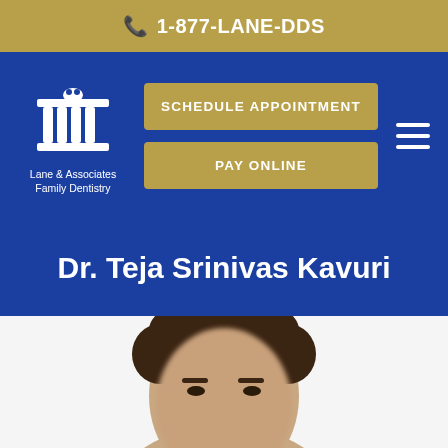1-877-LANE-DDS
[Figure (logo): Lane & Associates Family Dentistry logo — white building/pillars icon with tooth on top]
SCHEDULE APPOINTMENT
PAY ONLINE
Dr. Teja Srinivas Kavuri
[Figure (photo): Portrait photo of Dr. Teja Srinivas Kavuri, a man with dark hair, shown from the shoulders up, slightly blurred]